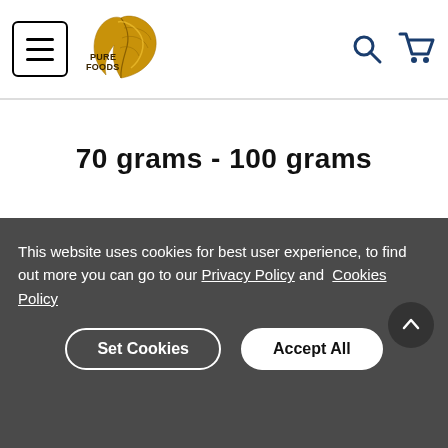[Figure (logo): Pure Foods logo - golden feather/leaf shape with 'Pure Foods' text in dark brown]
70 grams - 100 grams
This website uses cookies for best user experience, to find out more you can go to our Privacy Policy and Cookies Policy